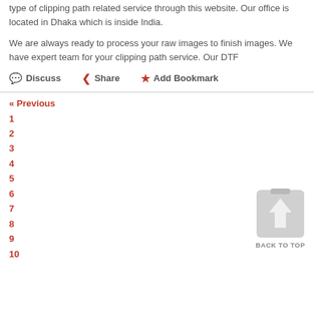type of clipping path related service through this website. Our office is located in Dhaka which is inside India.
We are always ready to process your raw images to finish images. We have expert team for your clipping path service. Our DTF
Discuss   Share   Add Bookmark
« Previous
1
2
3
4
5
6
7
8
9
10
[Figure (illustration): Back to top button with upward arrow icon and label BACK TO TOP]